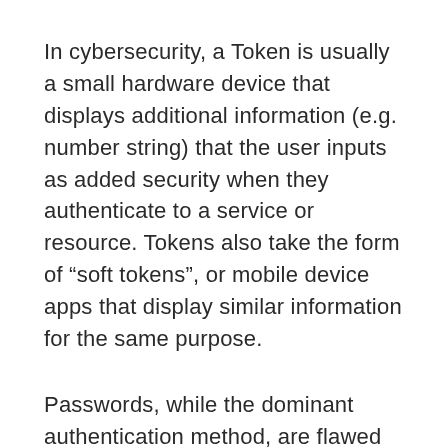In cybersecurity, a Token is usually a small hardware device that displays additional information (e.g. number string) that the user inputs as added security when they authenticate to a service or resource. Tokens also take the form of “soft tokens”, or mobile device apps that display similar information for the same purpose.
Passwords, while the dominant authentication method, are flawed since users often recycle passwords across different services leading to credential-stuffing and other attacks. In response, enterprises deploy hardware security